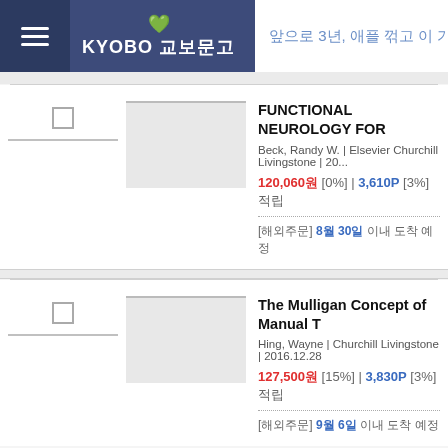KYOBO 교보문고 | 앞으로 3년, 애플 꺾고 이 기업이...
FUNCTIONAL NEUROLOGY FOR
Beck, Randy W. | Elsevier Churchill Livingstone | 20...
120,060원 [0%] | 3,610P [3%] 적립
[해외주문] 8월 30일 이내 도착 예정
The Mulligan Concept of Manual T
Hing, Wayne | Churchill Livingstone | 2016.12.28
127,500원 [15%] | 3,830P [3%] 적립
[해외주문] 9월 6일 이내 도착 예정